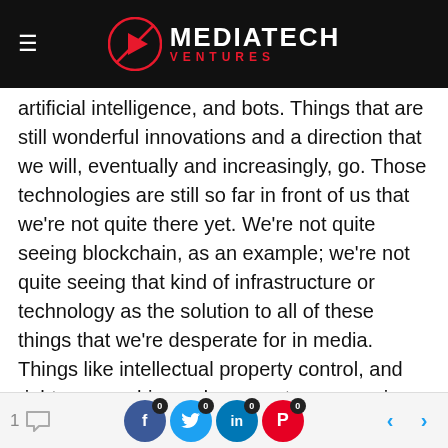MEDIATECH VENTURES
artificial intelligence, and bots. Things that are still wonderful innovations and a direction that we will, eventually and increasingly, go. Those technologies are still so far in front of us that we're not quite there yet. We're not quite seeing blockchain, as an example; we're not quite seeing that kind of infrastructure or technology as the solution to all of these things that we're desperate for in media. Things like intellectual property control, and rights ownership, and payments – managing payments for content creators – we're really not seeing any sort of AI, or machine learning, or data solution for fake news. There's a lot of exuberance that we could possibly say to fix this question of fake
1 [comment] [f 0] [t 0] [in 0] [p 0] [< >]